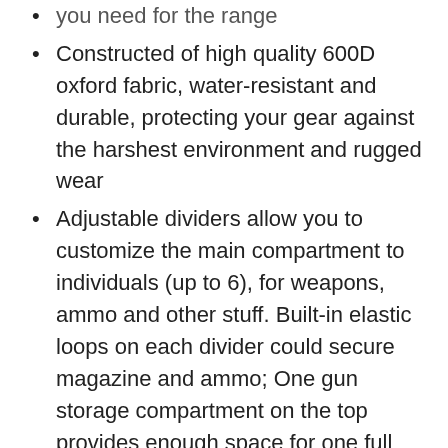you need for the range
​Constructed of high quality 600D oxford fabric, water-resistant and durable, protecting your gear against the harshest environment and rugged wear
​Adjustable dividers allow you to customize the main compartment to individuals (up to 6), for weapons, ammo and other stuff. Built-in elastic loops on each divider could secure magazine and ammo; One gun storage compartment on the top provides enough space for one full size handgun while thick padding keeps your firearm protected from shock and impact; Come with one hook-and-loop handgun holster to secure the weapon
​Molle webbing on both sides for